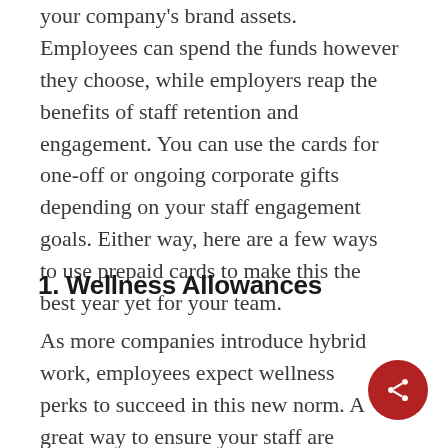your company's brand assets. Employees can spend the funds however they choose, while employers reap the benefits of staff retention and engagement. You can use the cards for one-off or ongoing corporate gifts depending on your staff engagement goals. Either way, here are a few ways to use prepaid cards to make this the best year yet for your team.
1. Wellness Allowances
As more companies introduce hybrid work, employees expect wellness perks to succeed in this new norm. A great way to ensure your staff are cared for while